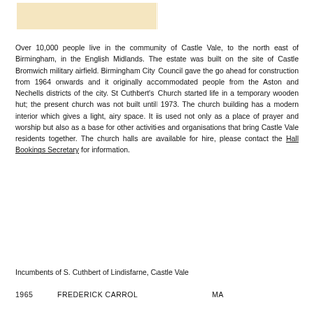[Figure (other): Beige/tan colored image placeholder rectangle at top left of page]
Over 10,000 people live in the community of Castle Vale, to the north east of Birmingham, in the English Midlands. The estate was built on the site of Castle Bromwich military airfield. Birmingham City Council gave the go ahead for construction from 1964 onwards and it originally accommodated people from the Aston and Nechells districts of the city. St Cuthbert's Church started life in a temporary wooden hut; the present church was not built until 1973. The church building has a modern interior which gives a light, airy space. It is used not only as a place of prayer and worship but also as a base for other activities and organisations that bring Castle Vale residents together. The church halls are available for hire, please contact the Hall Bookings Secretary for information.
Incumbents of S. Cuthbert of Lindisfarne, Castle Vale
1965    FREDERICK CARROL    MA